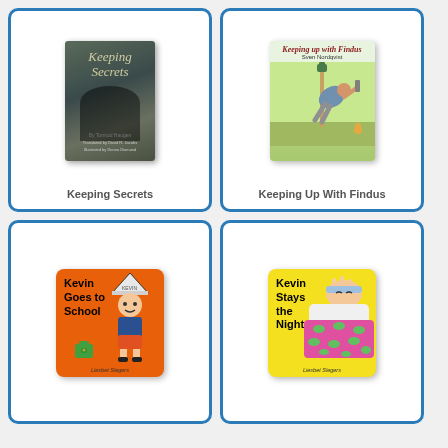[Figure (illustration): Book cover of 'Keeping Secrets' by Tormod Haugen, translated by David R. Jacobs, illustrated by Donna Diamond. Dark moody cover with shadowy figures.]
Keeping Secrets
[Figure (illustration): Book cover of 'Keeping Up With Findus' by Sven Nordqvist. Colorful illustrated cover showing a man bending over with a cat on a pole.]
Keeping Up With Findus
[Figure (illustration): Book cover of 'Kevin Goes to School' by Liesbet Slegers. Orange square cover showing a cartoon boy with a paper hat and school bag.]
[Figure (illustration): Book cover of 'Kevin Stays the Night' by Liesbet Slegers. Yellow square cover showing a cartoon boy in bed with a patterned blanket.]